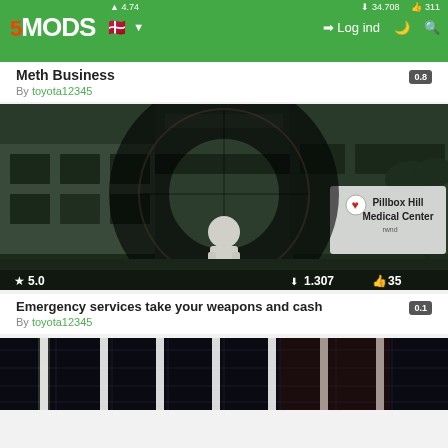5MODS — Log ind — navigation bar
Meth Business 0.8
By toyota12345
[Figure (screenshot): GTA 5 game screenshot showing a character standing outside Pillbox Hill Medical Center with a sniper scope overlay. Stats: ★ 5.0, downloads 1.307, likes 35]
Emergency services take your weapons and cash 0.1
By toyota12345
[Figure (screenshot): GTA 5 game screenshot showing an interior ceiling with neon lights, partially visible at bottom of page]